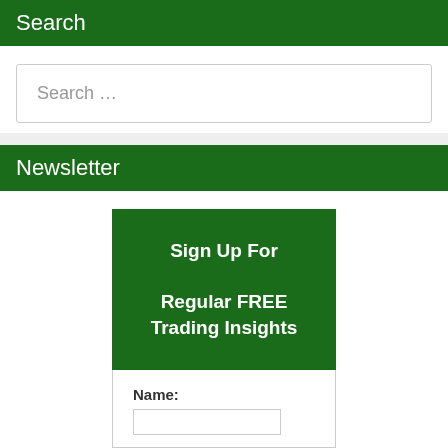Search
Search …
Newsletter
Sign Up For Regular FREE Trading Insights
Name: